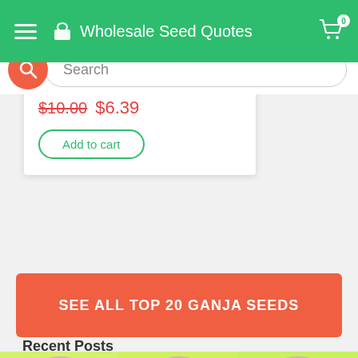Wholesale Seed Quotes
Search
$10.00  $6.39
Add to cart
SEE ALL TOP 20 GANJA SEEDS
[Figure (photo): Decorative image strip showing repeated purple/yellow plant-under-grow-light photographs]
Recent Posts